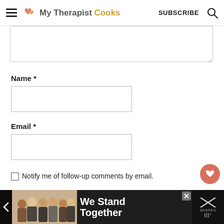My Therapist Cooks | SUBSCRIBE
[Figure (screenshot): Partially visible comment textarea form field at top of content area]
Name *
[Figure (screenshot): Name input text field]
Email *
[Figure (screenshot): Email input text field]
Notify me of follow-up comments by email.
[Figure (screenshot): WHAT'S NEXT → It's Raining Today...... panel with thumbnail photo]
[Figure (photo): Ad banner: group of people with arms around each other, text 'We Stand Together']